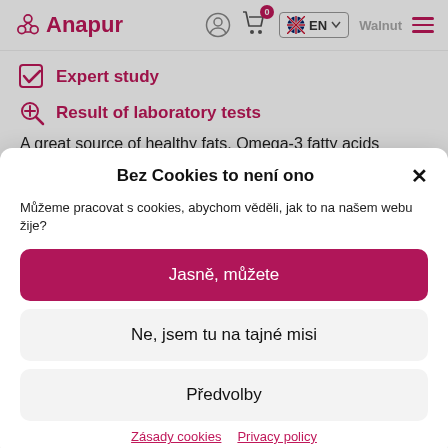Anapur — header with logo, user icon, cart (0), EN language selector, Walnut label, hamburger menu
Expert study
Result of laboratory tests
A great source of healthy fats. Omega-3 fatty acids
Bez Cookies to není ono
Můžeme pracovat s cookies, abychom věděli, jak to na našem webu žije?
Jasně, můžete
Ne, jsem tu na tajné misi
Předvolby
Zásady cookies   Privacy policy